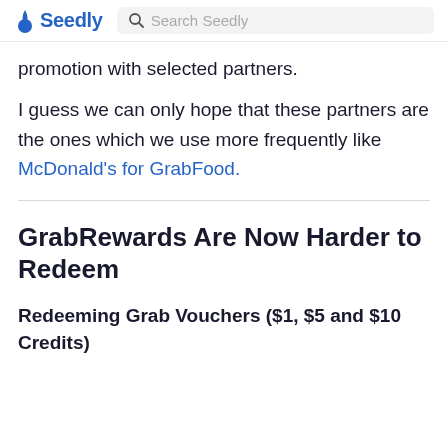Seedly | Search Seedly
promotion with selected partners.
I guess we can only hope that these partners are the ones which we use more frequently like McDonald's for GrabFood.
GrabRewards Are Now Harder to Redeem
Redeeming Grab Vouchers ($1, $5 and $10 Credits)